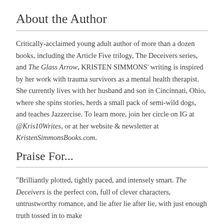About the Author
Critically-acclaimed young adult author of more than a dozen books, including the Article Five trilogy, The Deceivers series, and The Glass Arrow, KRISTEN SIMMONS' writing is inspired by her work with trauma survivors as a mental health therapist. She currently lives with her husband and son in Cincinnati, Ohio, where she spins stories, herds a small pack of semi-wild dogs, and teaches Jazzercise. To learn more, join her circle on IG at @Kris10Writes, or at her website & newsletter at KristenSimmonsBooks.com.
Praise For...
"Brilliantly plotted, tightly paced, and intensely smart. The Deceivers is the perfect con, full of clever characters, untrustworthy romance, and lie after lie after lie, with just enough truth tossed in to make